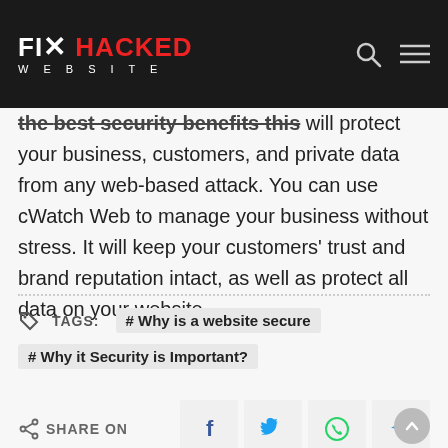FIX HACKED WEBSITE
the best security benefits this will protect your business, customers, and private data from any web-based attack. You can use cWatch Web to manage your business without stress. It will keep your customers' trust and brand reputation intact, as well as protect all data on your website.
TAGS: #Why is a website secure  #Why it Security is Important?
SHARE ON
PREVIOUS ARTICLE
Best DDOS Protection
NEXT ARTICLE
Site Is Down Check